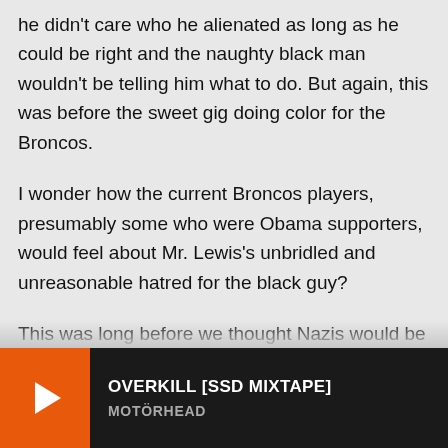he didn't care who he alienated as long as he could be right and the naughty black man wouldn't be telling him what to do. But again, this was before the sweet gig doing color for the Broncos.

I wonder how the current Broncos players, presumably some who were Obama supporters, would feel about Mr. Lewis's unbridled and unreasonable hatred for the black guy?

This was long before we thought Nazis would be an issue ever again. In this country at least. But it stuck with me. Rick Lewis would take anyone, literally anyone, over an intelligent and rightfully elected President. And that kind of attitude is why we have white supremacists marching in our
[Figure (other): Media player bar at the bottom showing an orange play button on the left, track title 'OVERKILL [SSD MIXTAPE]' in white bold text, and artist name 'MOTÖRHEAD' in gray bold text on a dark background.]